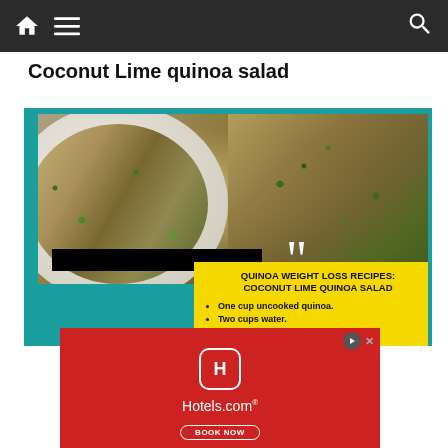Navigation bar with home icon, menu icon, and search icon
Coconut Lime quinoa salad
[Figure (photo): Food photo of coconut lime quinoa salad on a plate with green herbs, overlaid with a yellow info box listing recipe ingredients: One cup uncooked quinoa, Two cups water, Half cup sliced red onion, Three cups cucumber. Header reads: QUINOA WEIGHT LOSS RECIPES: COCONUT LIME QUINOA SALAD]
[Figure (infographic): Hotels.com advertisement banner with red background, Hotels.com logo icon, Hotels.com text, and BOOK NOW button]